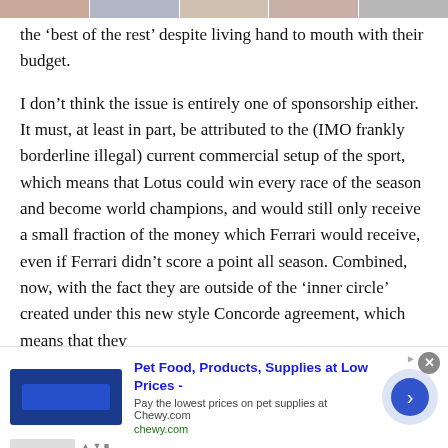[thumbnail strip of images]
the ‘best of the rest’ despite living hand to mouth with their budget.

I don’t think the issue is entirely one of sponsorship either. It must, at least in part, be attributed to the (IMO frankly borderline illegal) current commercial setup of the sport, which means that Lotus could win every race of the season and become world champions, and would still only receive a small fraction of the money which Ferrari would receive, even if Ferrari didn’t score a point all season. Combined, now, with the fact they are outside of the ‘inner circle’ created under this new style Concorde agreement, which means that they
[Figure (screenshot): Advertisement banner for Chewy.com: Pet Food, Products, Supplies at Low Prices - Pay the lowest prices on pet supplies at Chewy.com]